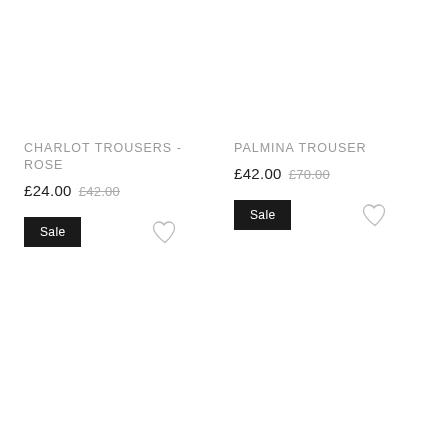CHARLOT TROUSERS - ROSE
£24.00 £42.00
Sale
PALMINA TROUSER
£42.00 £70.00
Sale